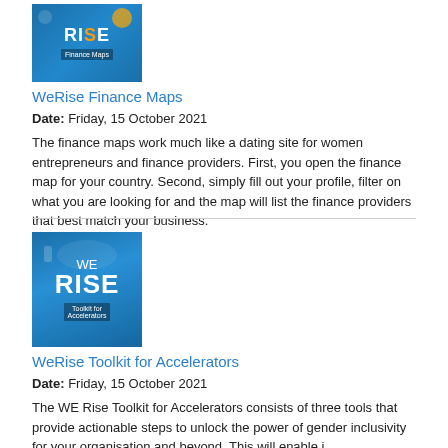[Figure (illustration): WeRise Finance Maps book cover — blue background with 'RISE' text and 'Finance Maps' subtitle bar]
WeRise Finance Maps
Date: Friday, 15 October 2021
The finance maps work much like a dating site for women entrepreneurs and finance providers. First, you open the finance map for your country. Second, simply fill out your profile, filter on what you are looking for and the map will list the finance providers that best match your business.
[Figure (illustration): WeRise Toolkit for Accelerators book cover — blue background with 'WE RISE' text and 'Toolkit for Accelerators' subtitle bar]
WeRise Toolkit for Accelerators
Date: Friday, 15 October 2021
The WE Rise Toolkit for Accelerators consists of three tools that provide actionable steps to unlock the power of gender inclusivity for your organisation and beyond. This will enable i